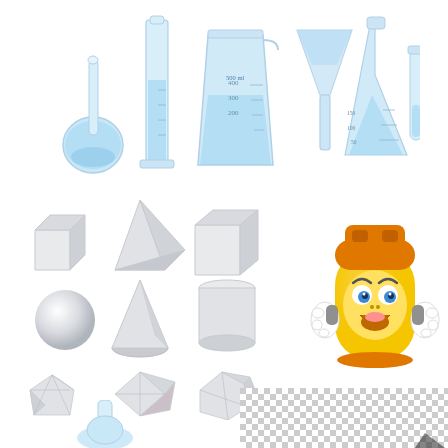[Figure (illustration): Collection of laboratory glassware: round-bottom flask with blue liquid, graduated cylinder with blue liquid, large beaker (500ml) with blue liquid and measurement markings, funnel with blue tint, Erlenmeyer flask with blue liquid and measurement markings, and a small test tube with blue liquid.]
[Figure (illustration): Collection of 3D geometric white/gray shaded solid shapes arranged in three rows: top row has a cube and triangular pyramid (tetrahedron) and rectangular prism; middle row has a sphere, cone, and cylinder; bottom row has three polyhedra/dodecahedron-like shapes.]
[Figure (illustration): Cartoon character: an anthropomorphized yellow propane/gas tank with orange top, wearing white gloves, with a surprised/shocked facial expression (wide eyes, open mouth).]
[Figure (illustration): Partial image at bottom right showing a checkered transparency pattern (grey and white squares) indicating a transparent background area, with a small dark shape partially visible.]
[Figure (illustration): Partial bottom-left image showing the top of a round-bottom flask or similar glassware illustration, partially cut off.]